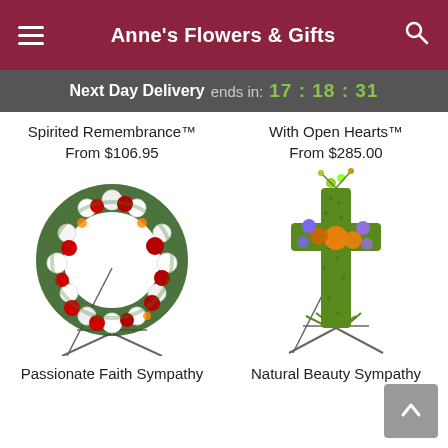Anne's Flowers & Gifts
Next Day Delivery ends in: 17:18:31
Spirited Remembrance™
From $106.95
With Open Hearts™
From $285.00
[Figure (photo): Floral wreath with red roses and white flowers on an easel stand]
[Figure (photo): Green moss cross decorated with orange, purple flowers on an easel stand]
Passionate Faith Sympathy
Natural Beauty Sympathy